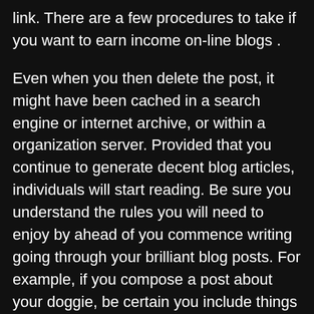link. There are a few procedures to take if you want to earn income on-line blogs .
Even when you then delete the post, it might have been cached in a search engine or internet archive, or within a organization server. Provided that you continue to generate decent blog articles, individuals will start reading. Be sure you understand the rules you will need to enjoy by ahead of you commence writing going through your brilliant blog posts. For example, if you compose a post about your doggie, be certain you include things like an image of him.
When you use a blog, it is critical to post typically. It can be simple to maintain a blog, although has to be considered genuine. At exactly the same time, the blog shouldn't be blatantly chosen as a product sales tool. For instance, a blog about jogging will likely own ads for the purpose of running shoes. Business blogs allow organizations to communicate with customers and